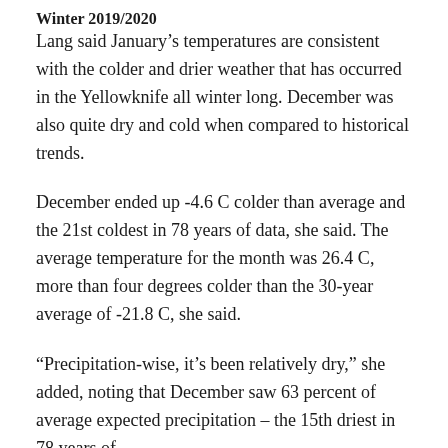Winter 2019/2020
Lang said January's temperatures are consistent with the colder and drier weather that has occurred in the Yellowknife all winter long. December was also quite dry and cold when compared to historical trends.
December ended up -4.6 C colder than average and the 21st coldest in 78 years of data, she said. The average temperature for the month was 26.4 C, more than four degrees colder than the 30-year average of -21.8 C, she said.
“Precipitation-wise, it’s been relatively dry,” she added, noting that December saw 63 percent of average expected precipitation – the 15th driest in 78 years of